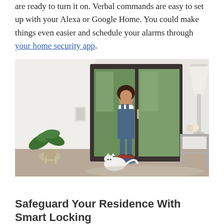are ready to turn it on. Verbal commands are easy to set up with your Alexa or Google Home. You could make things even easier and schedule your alarms through your home security app.
[Figure (photo): A child in overalls and a white shirt walking through a bright home entryway near glass double doors, with a white cat at her feet, a green houseplant to the left, a lamp and side table to the right.]
Safeguard Your Residence With Smart Locking